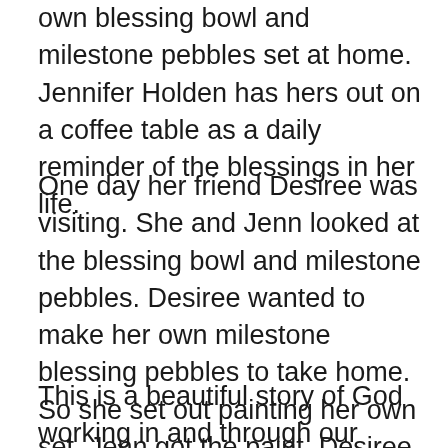own blessing bowl and milestone pebbles set at home. Jennifer Holden has hers out on a coffee table as a daily reminder of the blessings in her life.
One day her friend Desiree was visiting. She and Jenn looked at the blessing bowl and milestone pebbles. Desiree wanted to make her own milestone blessing pebbles to take home. So she set out painting her own set. Jenn got the paint. Desiree collected rocks to use as her pebbles. Desiree started all on her own and painted three of them before Jenn got her milestone mat and set to use as a guide.
This is a beautiful story of God working in and through our lives, sometimes when we least expect it. It also fits the Four Key faith practices that are at the heart of Milestones Ministry. Together Jenn and Desiree were able to have a caring conversation about life and faith. They rejoiced in